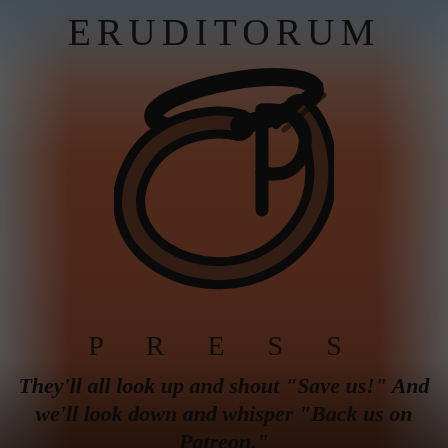ERUDITORUM
[Figure (logo): Eruditorum Press stylized logo — a large sweeping black calligraphic 'E' and 'P' monogram with flowing curves and a feather/quill-like element]
P R E S S
They'll all look up and shout "Save us!" And we'll look down and whisper "Back us on Patreon."